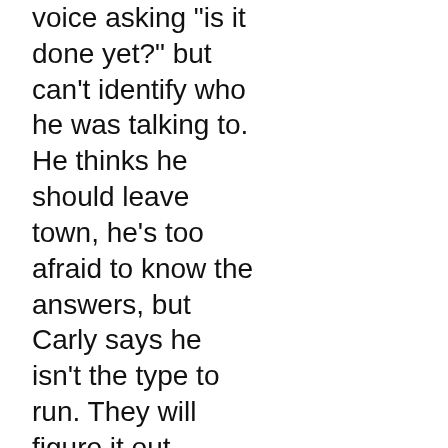voice asking "is it done yet?" but can't identify who he was talking to. He thinks he should leave town, he's too afraid to know the answers, but Carly says he isn't the type to run. They will figure it out together, and she leaves to look for Dr. Collins. Just then, he receives an incoming call.. Helena tells him he is active!
Ava talks to Avery on the phone, apologizes for not being able to hold her, she can't be with her, and has